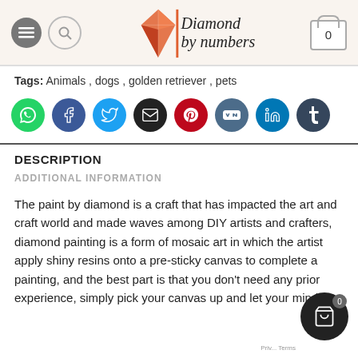[Figure (logo): Diamond by numbers logo with orange/red diamond gem graphic and italic serif text]
Tags: Animals, dogs, golden retriever, pets
[Figure (infographic): Row of 8 social media share buttons: WhatsApp (green), Facebook (blue), Twitter (light blue), Email (black), Pinterest (red), VK (dark teal), LinkedIn (blue), Tumblr (dark blue)]
DESCRIPTION
ADDITIONAL INFORMATION
The paint by diamond is a craft that has impacted the art and craft world and made waves among DIY artists and crafters, diamond painting is a form of mosaic art in which the artist apply shiny resins onto a pre-sticky canvas to complete a painting, and the best part is that you don't need any prior experience, simply pick your canvas up and let your mind